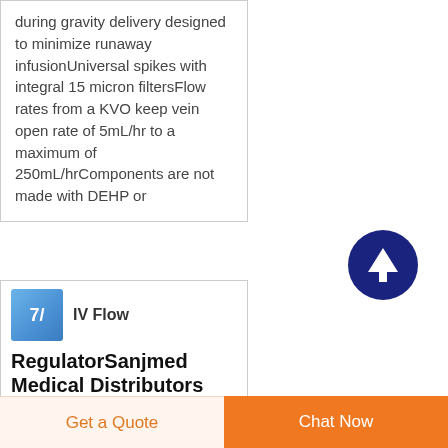during gravity delivery designed to minimize runaway infusionUniversal spikes with integral 15 micron filtersFlow rates from a KVO keep vein open rate of 5mL/hr to a maximum of 250mL/hrComponents are not made with DEHP or
[Figure (illustration): Dark navy blue circular button with white upward arrow icon]
[Figure (photo): Small blue product thumbnail image with text IV Flow]
IV Flow
RegulatorSanjmed Medical Distributors
IV Flow Regulator I V Fluid Flow Regulator Extension Set
Get a Quote
Chat Now